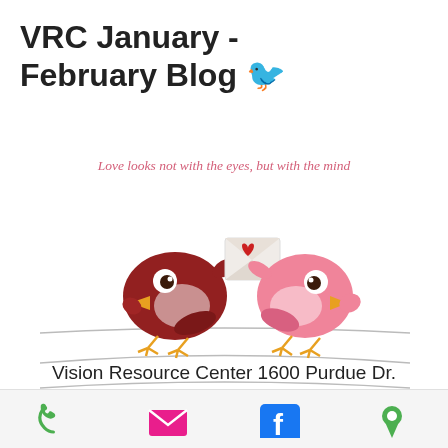VRC January - February Blog 🐦
[Figure (illustration): Two cartoon love birds sitting on a wire. A dark red bird on the left holds an envelope with a heart. A pink bird on the right faces left. Above them in pink italic text: 'Love looks not with the eyes, but with the mind'. Below, decorative wavy lines.]
Vision Resource Center 1600 Purdue Dr. Fayetteville  (910) 483-2719
[Figure (infographic): Footer bar with four contact icons: green phone, pink email envelope, blue Facebook logo, green location pin]